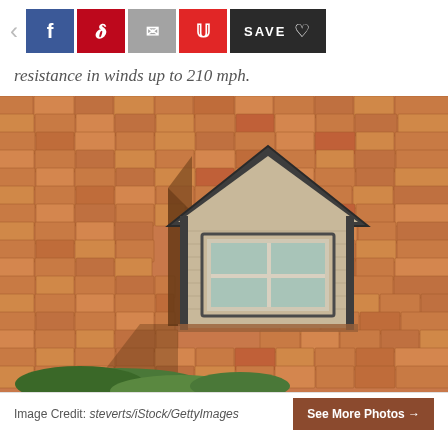[Figure (screenshot): Social sharing toolbar with back arrow, Facebook (blue), Pinterest (red), Email (grey), Flipboard (red) icon buttons, and a dark SAVE button with heart icon]
resistance in winds up to 210 mph.
[Figure (photo): Photograph of a cedar shake shingle roof with a dormer window featuring a triangular gable and white double-pane window, green shrubs visible at the bottom]
Image Credit: steverts/iStock/GettyImages